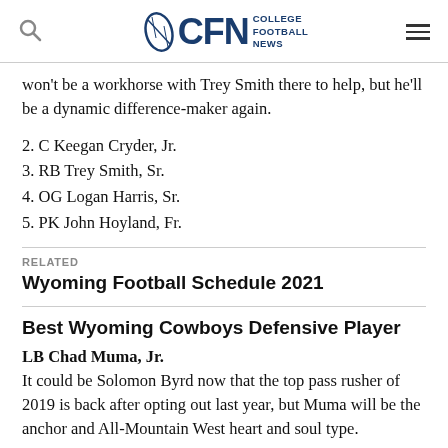CFN College Football News
won't be a workhorse with Trey Smith there to help, but he'll be a dynamic difference-maker again.
2. C Keegan Cryder, Jr.
3. RB Trey Smith, Sr.
4. OG Logan Harris, Sr.
5. PK John Hoyland, Fr.
RELATED
Wyoming Football Schedule 2021
Best Wyoming Cowboys Defensive Player
LB Chad Muma, Jr.
It could be Solomon Byrd now that the top pass rusher of 2019 is back after opting out last year, but Muma will be the anchor and All-Mountain West heart and soul type.